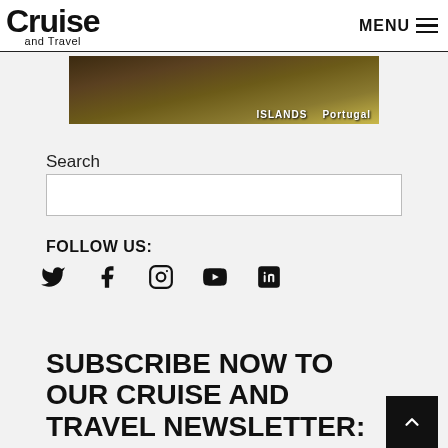Cruise and Travel | MENU
[Figure (photo): Banner image with dark forest/nature background with text 'ISLANDS' and 'Portugal']
Search
FOLLOW US:
[Figure (infographic): Social media icons: Twitter, Facebook, Instagram, YouTube, LinkedIn]
SUBSCRIBE NOW TO OUR CRUISE AND TRAVEL NEWSLETTER: